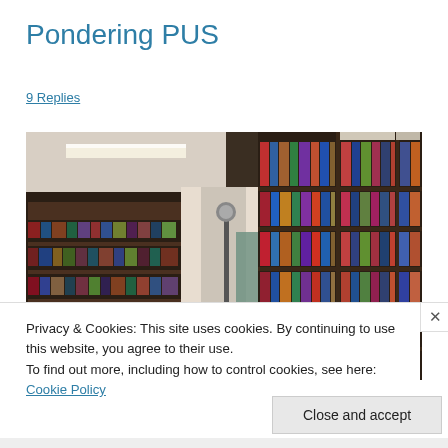Pondering PUS
9 Replies
[Figure (photo): Interior of a library showing tall bookshelves filled with colorful books, a lamp post, fluorescent ceiling lights, and an aisle between shelves.]
Privacy & Cookies: This site uses cookies. By continuing to use this website, you agree to their use.
To find out more, including how to control cookies, see here: Cookie Policy
Close and accept